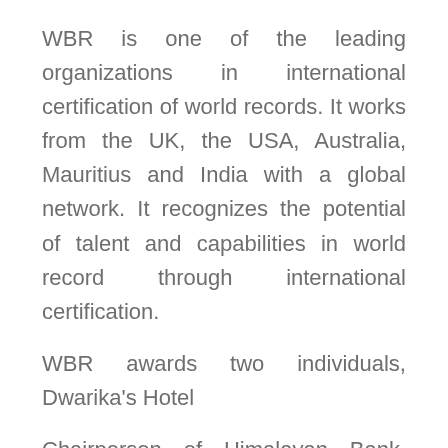WBR is one of the leading organizations in international certification of world records. It works from the UK, the USA, Australia, Mauritius and India with a global network. It recognizes the potential of talent and capabilities in world record through international certification.
WBR awards two individuals, Dwarika's Hotel
Chairperson of Himalayan Bank, Manoj Bahadur Shrestha has been honored by WBR for his contribution to the banking